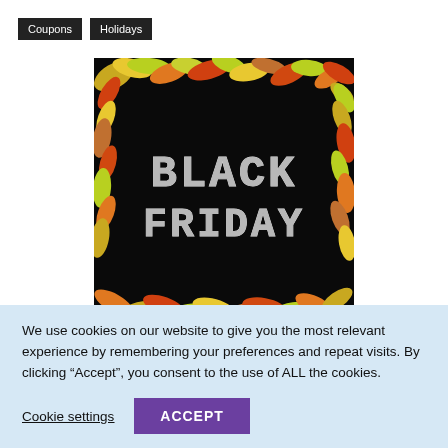Coupons  Holidays
[Figure (illustration): Black Friday promotional image: black background with colorful autumn leaves border (yellow, orange, red) and text 'BLACK FRIDAY' in white dotted/pixel-style letters in the center]
We use cookies on our website to give you the most relevant experience by remembering your preferences and repeat visits. By clicking “Accept”, you consent to the use of ALL the cookies.
Cookie settings   ACCEPT